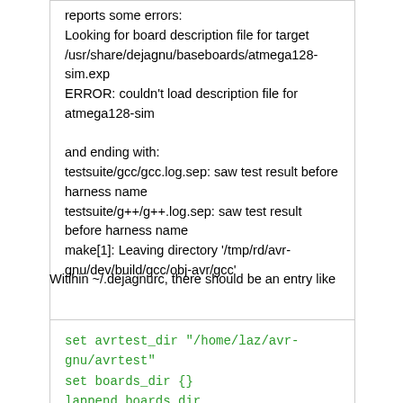reports some errors:
Looking for board description file for target /usr/share/dejagnu/baseboards/atmega128-sim.exp
ERROR: couldn't load description file for atmega128-sim

and ending with:
testsuite/gcc/gcc.log.sep: saw test result before harness name
testsuite/g++/g++.log.sep: saw test result before harness name
make[1]: Leaving directory '/tmp/rd/avr-gnu/dev/build/gcc/obj-avr/gcc'
Witihin ~/.dejagnurc, there should be an entry like
set avrtest_dir "/home/laz/avr-gnu/avrtest"
set boards_dir {}
lappend boards_dir